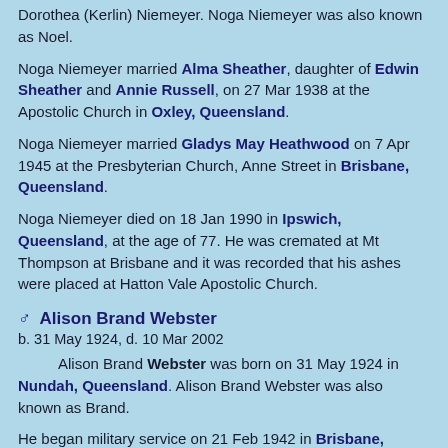Dorothea (Kerlin) Niemeyer. Noga Niemeyer was also known as Noel.
Noga Niemeyer married Alma Sheather, daughter of Edwin Sheather and Annie Russell, on 27 Mar 1938 at the Apostolic Church in Oxley, Queensland.
Noga Niemeyer married Gladys May Heathwood on 7 Apr 1945 at the Presbyterian Church, Anne Street in Brisbane, Queensland.
Noga Niemeyer died on 18 Jan 1990 in Ipswich, Queensland, at the age of 77. He was cremated at Mt Thompson at Brisbane and it was recorded that his ashes were placed at Hatton Vale Apostolic Church.
♂ Alison Brand Webster
b. 31 May 1924, d. 10 Mar 2002
Alison Brand Webster was born on 31 May 1924 in Nundah, Queensland. Alison Brand Webster was also known as Brand.
He began military service on 21 Feb 1942 in Brisbane, Queensland, enlisting in the Royal Australian Navy.